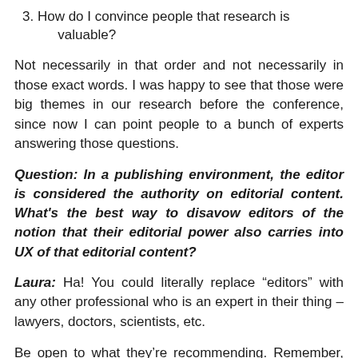3. How do I convince people that research is valuable?
Not necessarily in that order and not necessarily in those exact words. I was happy to see that those were big themes in our research before the conference, since now I can point people to a bunch of experts answering those questions.
Question: In a publishing environment, the editor is considered the authority on editorial content. What’s the best way to disavow editors of the notion that their editorial power also carries into UX of that editorial content?
Laura: Ha! You could literally replace “editors” with any other professional who is an expert in their thing – lawyers, doctors, scientists, etc.
Be open to what they’re recommending. Remember, they do have more domain expertise than you do. Understand why